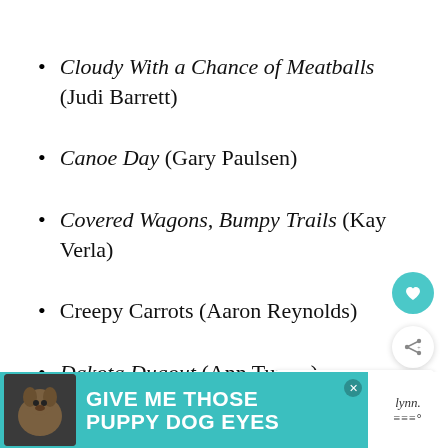Cloudy With a Chance of Meatballs (Judi Barrett)
Canoe Day (Gary Paulsen)
Covered Wagons, Bumpy Trails (Kay Verla)
Creepy Carrots (Aaron Reynolds)
Dakota Dugout (Ann Turner)
[Figure (screenshot): Ad banner: GIVE ME THOSE PUPPY DOG EYES with dog image on teal background]